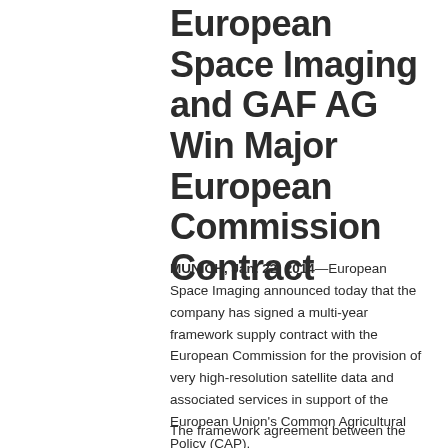European Space Imaging and GAF AG Win Major European Commission Contract
MUNICH, Jan. 22, 2014—European Space Imaging announced today that the company has signed a multi-year framework supply contract with the European Commission for the provision of very high-resolution satellite data and associated services in support of the European Union's Common Agricultural Policy (CAP).
The framework agreement between the European